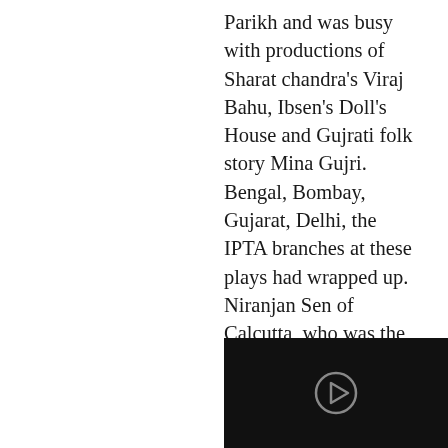Parikh and was busy with productions of Sharat chandra's Viraj Bahu, Ibsen's Doll's House and Gujrati folk story Mina Gujri. Bengal, Bombay, Gujarat, Delhi, the IPTA branches at these plays had wrapped up. Niranjan Sen of Calcutta, who was the General Secretary of IPTA at the time refused to accept defeat and made a plan to collect all the artistes associated with IPTA. He was a efficient, enthu… hard working man. He